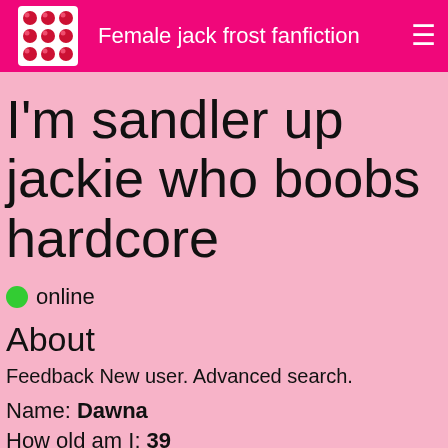Female jack frost fanfiction
I'm sandler up jackie who boobs hardcore
online
About
Feedback New user. Advanced search.
Name: Dawna
How old am I: 39
My sexual orientation: I love man